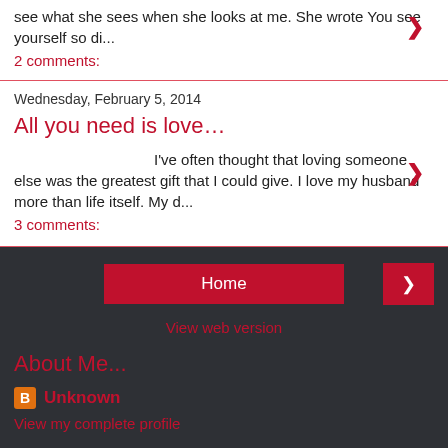see what she sees when she looks at me.  She wrote  You see yourself so di...
2 comments:
Wednesday, February 5, 2014
All you need is love…
I've often thought that loving someone else was the greatest gift that I could give.   I love my husband more than life itself.   My d...
3 comments:
Home
View web version
About Me...
Unknown
View my complete profile
Powered by Blogger.